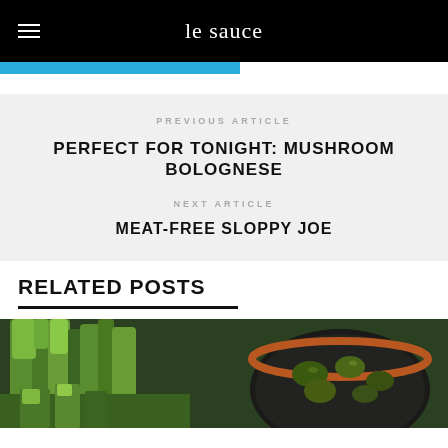le sauce
PREVIOUS ARTICLE
PERFECT FOR TONIGHT: MUSHROOM BOLOGNESE
NEXT ARTICLE
MEAT-FREE SLOPPY JOE
RELATED POSTS
[Figure (photo): Photo of green vegetables including leeks and olives in a bowl on a dark background]